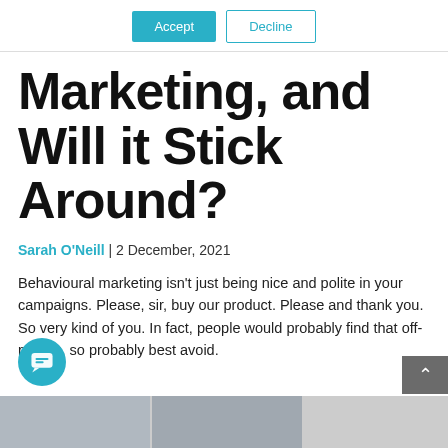Accept | Decline
Marketing, and Will it Stick Around?
Sarah O'Neill | 2 December, 2021
Behavioural marketing isn't just being nice and polite in your campaigns. Please, sir, buy our product. Please and thank you. So very kind of you. In fact, people would probably find that off-putting, so probably best avoid.
[Figure (photo): Two thumbnail photos at the bottom of the page]